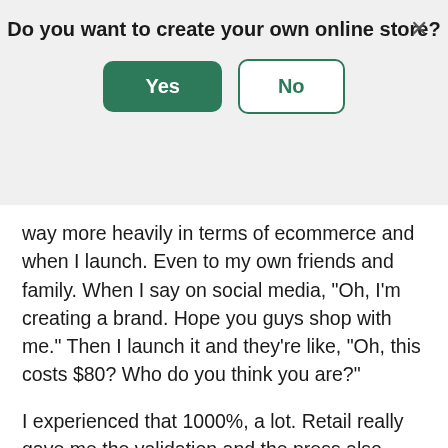Do you want to create your own online store?
[Figure (screenshot): Modal dialog with Yes (green filled button) and No (green outlined button) options, and an X close button in the top right]
way more heavily in terms of ecommerce and when I launch. Even to my own friends and family. When I say on social media, "Oh, I'm creating a brand. Hope you guys shop with me." Then I launch it and they're like, "Oh, this costs $80? Who do you think you are?"
I experienced that 1000%, a lot. Retail really gave me the validation and the press also gave me the validation that I needed so that people didn't question that as much. I also have proof of concept. I have the reviews and the user